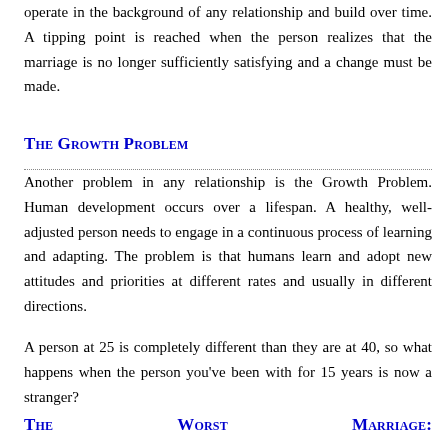operate in the background of any relationship and build over time. A tipping point is reached when the person realizes that the marriage is no longer sufficiently satisfying and a change must be made.
The Growth Problem
Another problem in any relationship is the Growth Problem. Human development occurs over a lifespan. A healthy, well-adjusted person needs to engage in a continuous process of learning and adapting. The problem is that humans learn and adopt new attitudes and priorities at different rates and usually in different directions.
A person at 25 is completely different than they are at 40, so what happens when the person you've been with for 15 years is now a stranger?
The Worst Marriage: